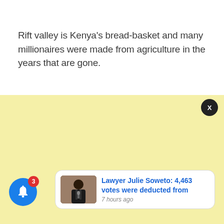Rift valley is Kenya's bread-basket and many millionaires were made from agriculture in the years that are gone.
[Figure (screenshot): Yellow advertisement/content area placeholder]
[Figure (screenshot): Close button (X) dark circle in top right of yellow area]
[Figure (screenshot): Push notification card showing an image of a person in a suit speaking at a microphone, with headline text 'Lawyer Julie Soweto: 4,463 votes were deducted from' and timestamp '7 hours ago']
[Figure (screenshot): Blue circular bell icon with red badge showing the number 3]